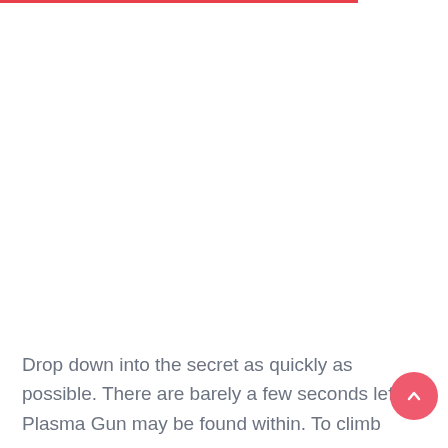Drop down into the secret as quickly as possible. There are barely a few seconds left. A Plasma Gun may be found within. To climb